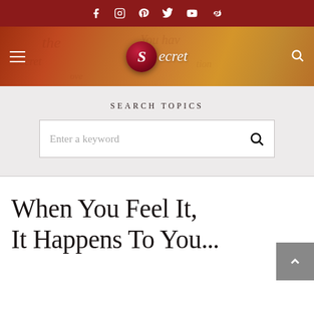Social media icons bar: Facebook, Instagram, Pinterest, Twitter, YouTube, Weibo
[Figure (logo): The Secret website header banner with logo: hamburger menu icon on left, The Secret script logo in center with red circle containing S, search icon on right. Orange-brown textured background with cursive script watermark.]
Search Topics
Enter a keyword
When You Feel It, It Happens To You...